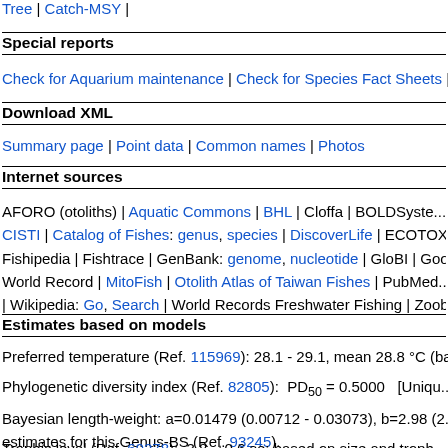Tree | Catch-MSY |
Special reports
Check for Aquarium maintenance | Check for Species Fact Sheets |
Download XML
Summary page | Point data | Common names | Photos
Internet sources
AFORO (otoliths) | Aquatic Commons | BHL | Cloffa | BOLDSyste... CISTI | Catalog of Fishes: genus, species | DiscoverLife | ECOTOX... Fishipedia | Fishtrace | GenBank: genome, nucleotide | GloBI | Goo... World Record | MitoFish | Otolith Atlas of Taiwan Fishes | PubMed... | Wikipedia: Go, Search | World Records Freshwater Fishing | Zoob...
Estimates based on models
Preferred temperature (Ref. 115969): 28.1 - 29.1, mean 28.8 °C (ba...
Phylogenetic diversity index (Ref. 82805):  PD50 = 0.5000  [Uniqu...
Bayesian length-weight: a=0.01479 (0.00712 - 0.03073), b=2.98 (2... estimates for this Genus-BS (Ref. 93245).
Trophic level (Ref. 69278):  3.8  +0.6 se; based on size and troph...